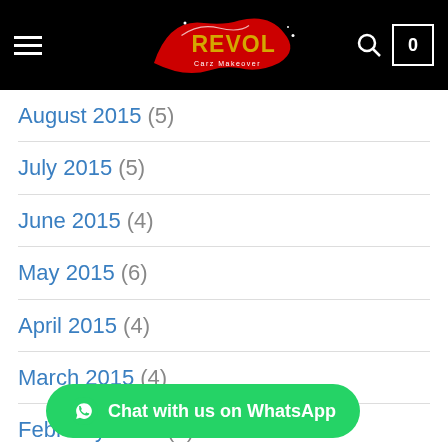[Figure (logo): Revol Carz Makeover logo on black navigation bar with hamburger menu, search icon, and cart showing 0]
August 2015 (5)
July 2015 (5)
June 2015 (4)
May 2015 (6)
April 2015 (4)
March 2015 (4)
February 2015 (4)
January 2015 (4)
December 2014 (partially visible)
November 2014 (4)